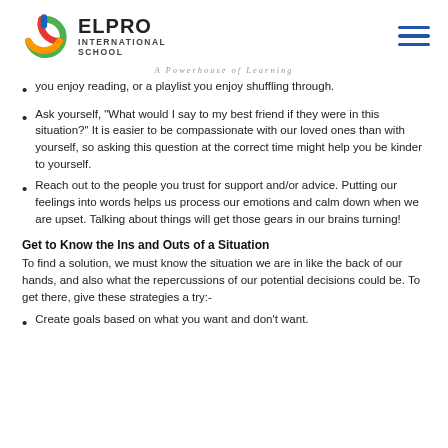ELPRO INTERNATIONAL SCHOOL — A Powerhouse of Learning
you enjoy reading, or a playlist you enjoy shuffling through.
Ask yourself, "What would I say to my best friend if they were in this situation?" It is easier to be compassionate with our loved ones than with yourself, so asking this question at the correct time might help you be kinder to yourself.
Reach out to the people you trust for support and/or advice. Putting our feelings into words helps us process our emotions and calm down when we are upset. Talking about things will get those gears in our brains turning!
Get to Know the Ins and Outs of a Situation
To find a solution, we must know the situation we are in like the back of our hands, and also what the repercussions of our potential decisions could be. To get there, give these strategies a try:-
Create goals based on what you want and don't want.